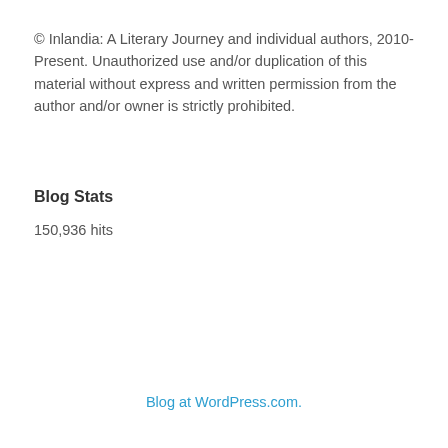© Inlandia: A Literary Journey and individual authors, 2010-Present. Unauthorized use and/or duplication of this material without express and written permission from the author and/or owner is strictly prohibited.
Blog Stats
150,936 hits
Blog at WordPress.com.